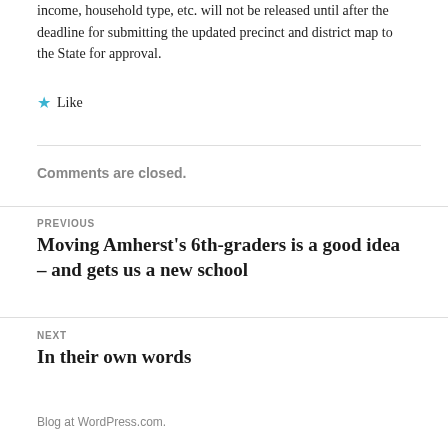income, household type, etc. will not be released until after the deadline for submitting the updated precinct and district map to the State for approval.
★ Like
Comments are closed.
PREVIOUS
Moving Amherst's 6th-graders is a good idea – and gets us a new school
NEXT
In their own words
Blog at WordPress.com.